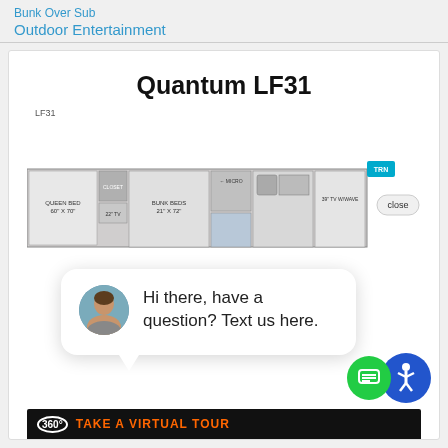Bunk Over Sub
Outdoor Entertainment
Quantum LF31
LF31
[Figure (illustration): Floor plan diagram of RV model LF31 showing bunk beds, queen bed, kitchen appliances, and living area layout with a TRN badge and close button]
[Figure (illustration): Chat widget popup showing a woman's avatar photo and text 'Hi there, have a question? Text us here.']
[Figure (illustration): Green circle icon button with chat/lines symbol and blue accessibility circle icon with person figure]
Hi there, have a question? Text us here.
360° TAKE A VIRTUAL TOUR